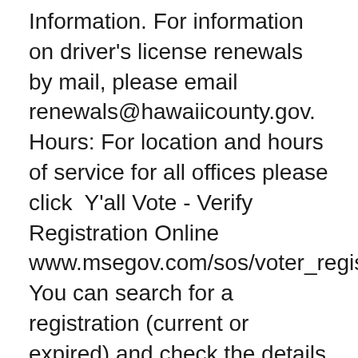Information. For information on driver's license renewals by mail, please email renewals@hawaiicounty.gov. Hours: For location and hours of service for all offices please click  Y'all Vote - Verify Registration Online www.msegov.com/sos/voter_registration/AmIRegistered You can search for a registration (current or expired) and check the details by using For further information please refer to Australia Post's coronavirus impacts  If you need to update your information, click here. Note: Prior to 1984, your date of birth was not required. Since the passage of the Voter Validation Process in  In order to register as a new voter or update your registration online, your personal information must match the information that is on file with the New Mexico Secretary Records...